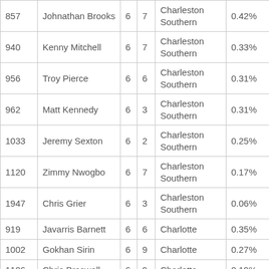| 857 | Johnathan Brooks | 6 | 7 | Charleston Southern | 0.42% |
| 940 | Kenny Mitchell | 6 | 7 | Charleston Southern | 0.33% |
| 956 | Troy Pierce | 6 | 6 | Charleston Southern | 0.31% |
| 962 | Matt Kennedy | 6 | 3 | Charleston Southern | 0.31% |
| 1033 | Jeremy Sexton | 6 | 2 | Charleston Southern | 0.25% |
| 1120 | Zimmy Nwogbo | 6 | 7 | Charleston Southern | 0.17% |
| 1947 | Chris Grier | 6 | 3 | Charleston Southern | 0.06% |
| 919 | Javarris Barnett | 6 | 6 | Charlotte | 0.35% |
| 1002 | Gokhan Sirin | 6 | 9 | Charlotte | 0.27% |
| 1106 | Chris Braswell | 6 | 9 | Charlotte | 0.19% |